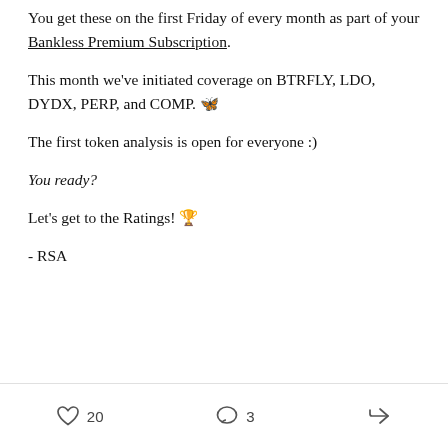You get these on the first Friday of every month as part of your Bankless Premium Subscription.
This month we've initiated coverage on BTRFLY, LDO, DYDX, PERP, and COMP. 🦋
The first token analysis is open for everyone :)
You ready?
Let's get to the Ratings! 🏆
- RSA
❤ 20   💬 3   ➦